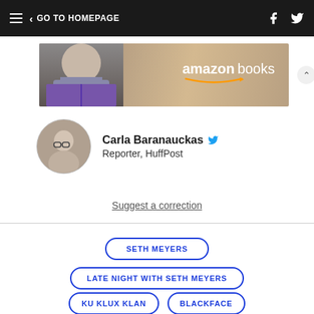GO TO HOMEPAGE
[Figure (photo): Amazon Books advertisement banner with a person reading a book]
Carla Baranauckas – Reporter, HuffPost
Suggest a correction
SETH MEYERS
LATE NIGHT WITH SETH MEYERS
KU KLUX KLAN
BLACKFACE
RALPH NORTHAM